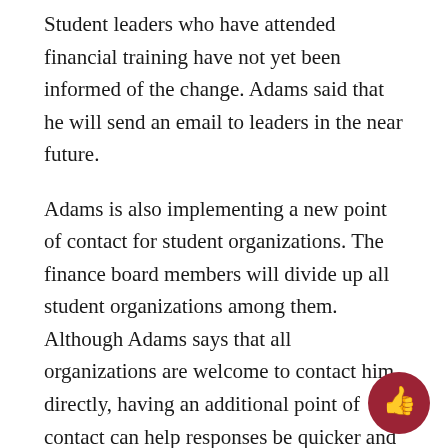Student leaders who have attended financial training have not yet been informed of the change. Adams said that he will send an email to leaders in the near future.
Adams is also implementing a new point of contact for student organizations. The finance board members will divide up all student organizations among them. Although Adams says that all organizations are welcome to contact him directly, having an additional point of contact can help responses be quicker and more convenient.
Other reforms include a new contract policy, a more formalized fundraising request process and a different budgeting process in the spring.
Kurz says that if any leaders are angry with the changes, they can work with SGA.
“We want students to feel empowered to change and make